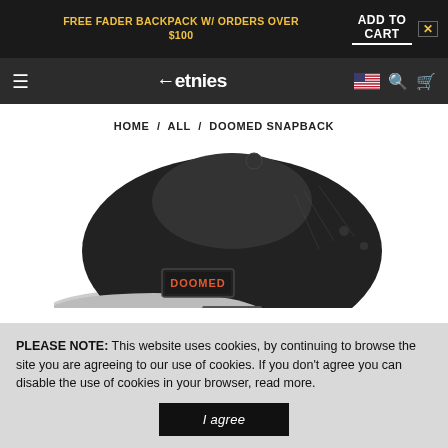FREE FADER BACKPACK W/ ORDERS OVER $100 | ADD TO CART
etnies — home navigation bar
HOME / ALL / DOOMED SNAPBACK
[Figure (photo): Black and grey Doomed Snapback hat with a rectangular DOOMED logo patch on the side, photographed from a rear three-quarter angle on a white background.]
PLEASE NOTE: This website uses cookies, by continuing to browse the site you are agreeing to our use of cookies. If you don't agree you can disable the use of cookies in your browser, read more.
I agree